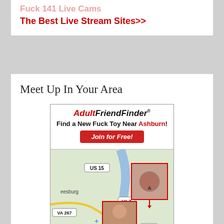Fuck 141 Live Cams
The Best Live Stream Sites>>
Meet Up In Your Area
[Figure (infographic): AdultFriendFinder ad widget showing a map of the Ashburn/Leesburg Virginia area with user photo thumbnails pinned to locations on the map. Map shows road labels US 15, VA 267, VA 7, VA 28. Header reads: AdultFriendFinder - Find a New Fuck Toy Near Ashburn! Join for Free!]